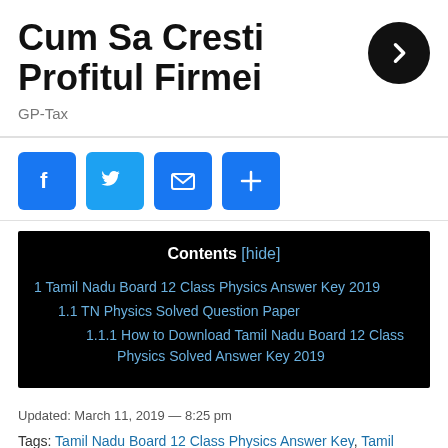Cum Sa Cresti Profitul Firmei
GP-Tax
[Figure (infographic): Social share icons: Facebook, Twitter, Email, Plus/Share buttons in blue]
Contents [hide]
1 Tamil Nadu Board 12 Class Physics Answer Key 2019
1.1 TN Physics Solved Question Paper
1.1.1 How to Download Tamil Nadu Board 12 Class Physics Solved Answer Key 2019
Updated: March 11, 2019 — 8:25 pm
Tags: Tamil Nadu Board 12 Class Physics Answer Key, Tamil Nadu Board 12 Class Physics Examination 2019, Tamil Nadu Board 12 Class Physics Solved Answer Sheet, TN Answer Key 2019 Class 12th Physics